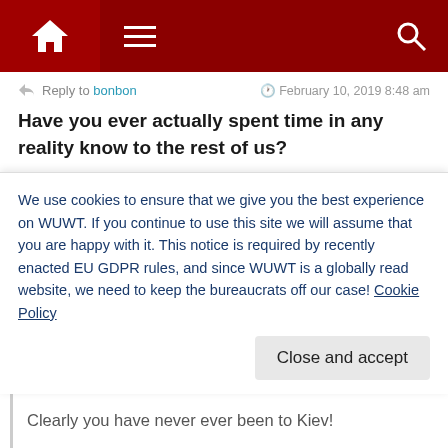[Figure (screenshot): Website navigation bar with dark red background, home icon on left, hamburger menu, and search icon on right]
Reply to bonbon   February 10, 2019 8:48 am
Have you ever actually spent time in any reality know to the rest of us?
+ 0 —
pigs_in_space
Reply to bonbon   February 12, 2019 12:21 am
"Kiev right now has the only holdover Nazi government,
We use cookies to ensure that we give you the best experience on WUWT. If you continue to use this site we will assume that you are happy with it. This notice is required by recently enacted EU GDPR rules, and since WUWT is a globally read website, we need to keep the bureaucrats off our case! Cookie Policy
Close and accept
Clearly you have never ever been to Kiev!